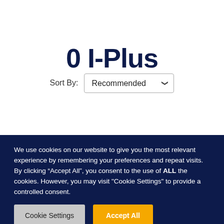0 I-Plus
Sort By: Recommended
We use cookies on our website to give you the most relevant experience by remembering your preferences and repeat visits. By clicking “Accept All”, you consent to the use of ALL the cookies. However, you may visit "Cookie Settings" to provide a controlled consent.